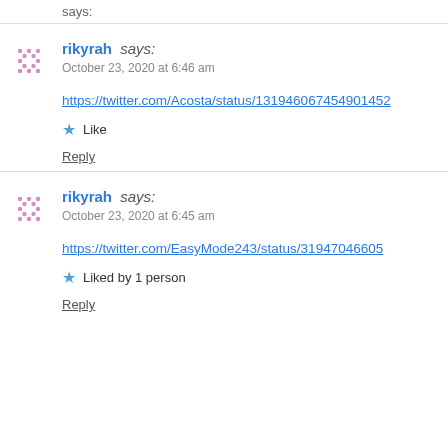says:
rikyrah says: October 23, 2020 at 6:46 am
https://twitter.com/Acosta/status/131946067454901452…
Like
Reply
rikyrah says: October 23, 2020 at 6:45 am
https://twitter.com/EasyMode243/status/131947046605…
Liked by 1 person
Reply